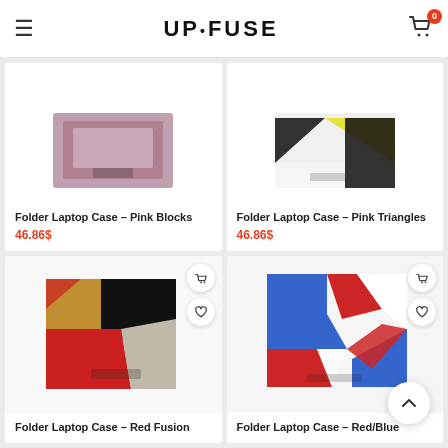UP•FUSE
[Figure (photo): Folder Laptop Case – Pink Blocks product photo]
Folder Laptop Case – Pink Blocks
46.86$
[Figure (photo): Folder Laptop Case – Pink Triangles product photo]
Folder Laptop Case – Pink Triangles
46.86$
[Figure (photo): Folder Laptop Case – Red Fusion product photo]
Folder Laptop Case – Red Fusion
[Figure (photo): Folder Laptop Case – Red/Blue product photo]
Folder Laptop Case – Red/Blue